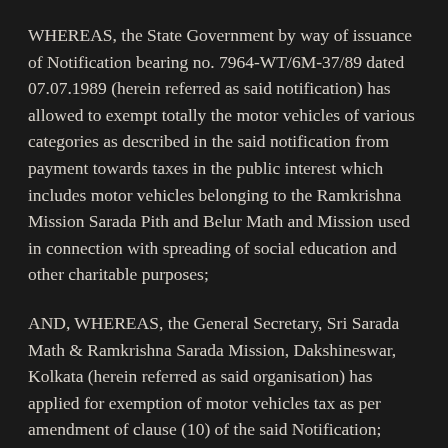WHEREAS, the State Government by way of issuance of Notification bearing no. 7964-WT/6M-37/89 dated 07.07.1989 (herein referred as said notification) has allowed to exempt totally the motor vehicles of various categories as described in the said notification from payment towards taxes in the public interest which includes motor vehicles belonging to the Ramkrishna Mission Sarada Pith and Belur Math and Mission used in connection with spreading of social education and other charitable purposes;
AND, WHEREAS, the General Secretary, Sri Sarada Math & Ramkrishna Sarada Mission, Dakshineswar, Kolkata (herein referred as said organisation) has applied for exemption of motor vehicles tax as per amendment of clause (10) of the said Notification;
AND, WHEREAS, in terms of Clause 7(d) of notification no.